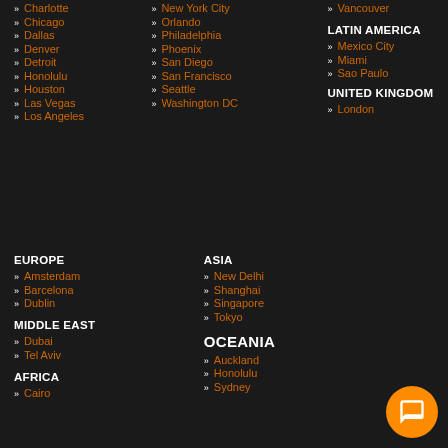Charlotte
Chicago
Dallas
Denver
Detroit
Honolulu
Houston
Las Vegas
Los Angeles
New York City
Orlando
Philadelphia
Phoenix
San Diego
San Francisco
Seattle
Washington DC
Vancouver
LATIN AMERICA
Mexico City
Miami
Sao Paulo
UNITED KINGDOM
London
EUROPE
Amsterdam
Barcelona
Dublin
MIDDLE EAST
Dubai
Tel Aviv
AFRICA
Cairo
ASIA
New Delhi
Shanghai
Singapore
Tokyo
OCEANIA
Auckland
Honolulu
Sydney